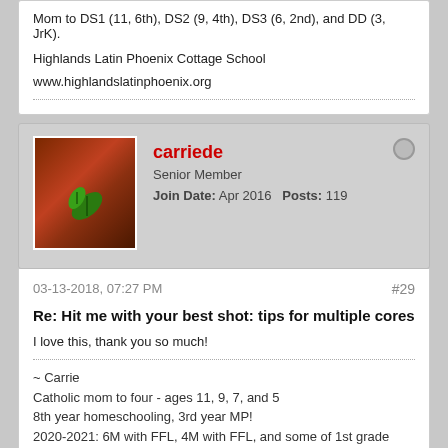Mom to DS1 (11, 6th), DS2 (9, 4th), DS3 (6, 2nd), and DD (3, JrK).
Highlands Latin Phoenix Cottage School
www.highlandslatinphoenix.org
carriede
Senior Member
Join Date: Apr 2016    Posts: 119
03-13-2018, 07:27 PM
#29
Re: Hit me with your best shot: tips for multiple cores
I love this, thank you so much!
~ Carrie
Catholic mom to four - ages 11, 9, 7, and 5
8th year homeschooling, 3rd year MP!
2020-2021: 6M with FFL, 4M with FFL, and some of 1st grade
thelivingreation (partial, cut off at bottom)